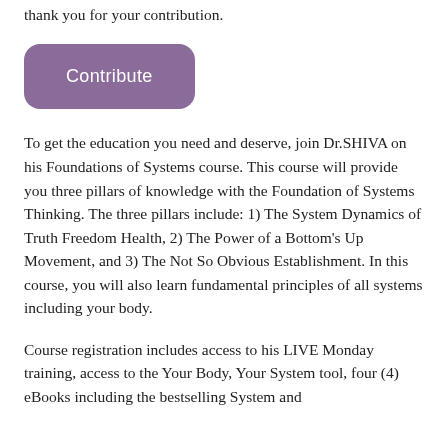thank you for your contribution.
[Figure (other): Purple rounded rectangle button labeled 'Contribute']
To get the education you need and deserve, join Dr.SHIVA on his Foundations of Systems course. This course will provide you three pillars of knowledge with the Foundation of Systems Thinking. The three pillars include: 1) The System Dynamics of Truth Freedom Health, 2) The Power of a Bottom's Up Movement, and 3) The Not So Obvious Establishment. In this course, you will also learn fundamental principles of all systems including your body.
Course registration includes access to his LIVE Monday training, access to the Your Body, Your System tool, four (4) eBooks including the bestselling System and